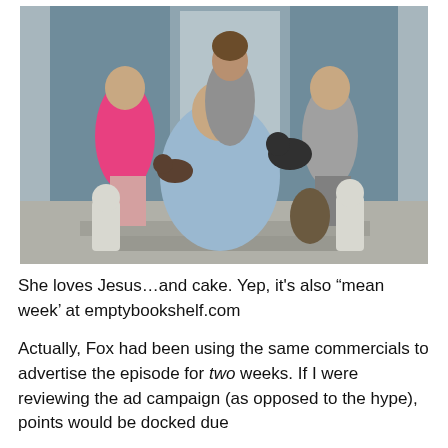[Figure (photo): Family photo on a porch: a woman seated in the center in a blue outfit, flanked by two children and another adult standing behind them, with two dogs and decorative statues visible.]
She loves Jesus…and cake. Yep, it's also “mean week’ at emptybookshelf.com
Actually, Fox had been using the same commercials to advertise the episode for two weeks. If I were reviewing the ad campaign (as opposed to the hype), points would be docked due